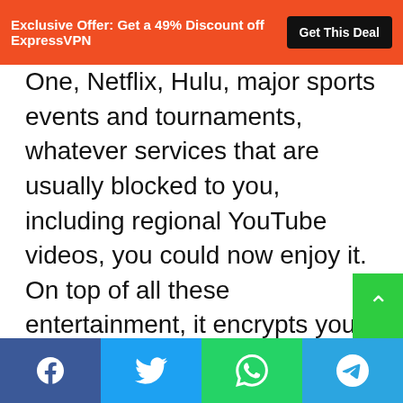Exclusive Offer: Get a 49% Discount off ExpressVPN | Get This Deal
One, Netflix, Hulu, major sports events and tournaments, whatever services that are usually blocked to you, including regional YouTube videos, you could now enjoy it. On top of all these entertainment, it encrypts your data, securing your information where ever you may use it, home or on open public Wi-Fi. The list goes on, and if you're here, you probably know already.
I hope this article will help you save tons of money, especially all of you frequent business travelers and globetrotters.
Facebook | Twitter | WhatsApp | Telegram